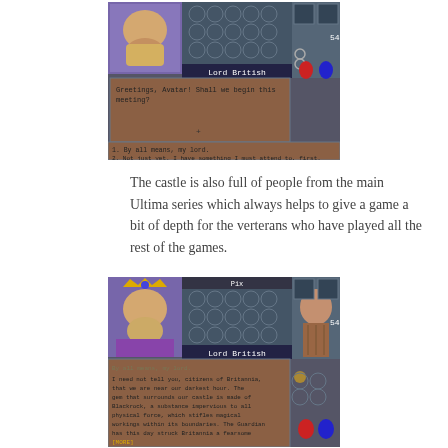[Figure (screenshot): Screenshot of Ultima game showing Lord British dialogue: 'Greetings, Avatar! Shall we begin this meeting?' with two response options: '1. By all means, my lord.' and '2. Not just yet. I have something I must attend to, first.']
The castle is also full of people from the main Ultima series which always helps to give a game a bit of depth for the verterans who have played all the rest of the games.
[Figure (screenshot): Screenshot of Ultima game showing Lord British (Pix) speaking: 'By all means, my lord. I need not tell you, citizens of Britannia, that we are near our darkest hour. The gem that surrounds our castle is made of Blackrock, a substance impervious to all physical force, which stifles magical workings within its boundaries. The Guardian has this day struck Britannia a fearsome blow, and we may be sure that he will not rest idle. Doubtless, even now he is preparing an assault on the entire nation of Britannia! [MORE]']